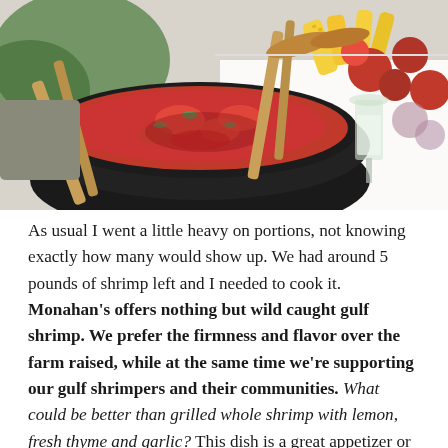[Figure (photo): Photo of a large black bowl filled with red tomato salsa or sauce being stirred with wooden brushes/basting tools, with corn on the cob, sausages, potatoes, and other seafood boil ingredients spread on a white tablecloth in the background. A glass of white wine is visible on the right.]
As usual I went a little heavy on portions, not knowing exactly how many would show up. We had around 5 pounds of shrimp left and I needed to cook it. Monahan's offers nothing but wild caught gulf shrimp. We prefer the firmness and flavor over the farm raised, while at the same time we're supporting our gulf shrimpers and their communities. What could be better than grilled whole shrimp with lemon, fresh thyme and garlic? This dish is a great appetizer or entrée, a bit messy to eat, but well worth the